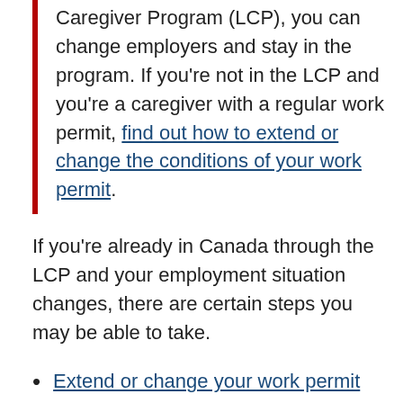Caregiver Program (LCP), you can change employers and stay in the program. If you're not in the LCP and you're a caregiver with a regular work permit, find out how to extend or change the conditions of your work permit.
If you're already in Canada through the LCP and your employment situation changes, there are certain steps you may be able to take.
Extend or change your work permit